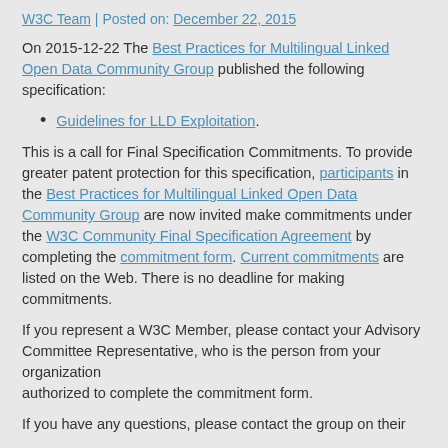W3C Team | Posted on: December 22, 2015
On 2015-12-22 The Best Practices for Multilingual Linked Open Data Community Group published the following specification:
Guidelines for LLD Exploitation.
This is a call for Final Specification Commitments. To provide greater patent protection for this specification, participants in the Best Practices for Multilingual Linked Open Data Community Group are now invited make commitments under the W3C Community Final Specification Agreement by completing the commitment form. Current commitments are listed on the Web. There is no deadline for making commitments.
If you represent a W3C Member, please contact your Advisory Committee Representative, who is the person from your organization authorized to complete the commitment form.
If you have any questions, please contact the group on their